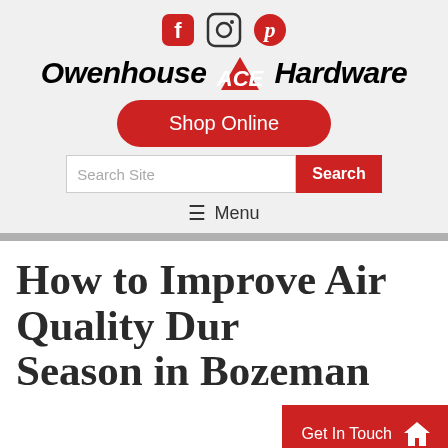[Figure (logo): Social media icons: Facebook, Instagram, Pinterest in red/dark color]
[Figure (logo): Owenhouse ACE Hardware logo with ACE in red triangle]
Shop Online
Search Site
Search
☰ Menu
How to Improve Air Quality During Season in Bozeman
Get In Touch